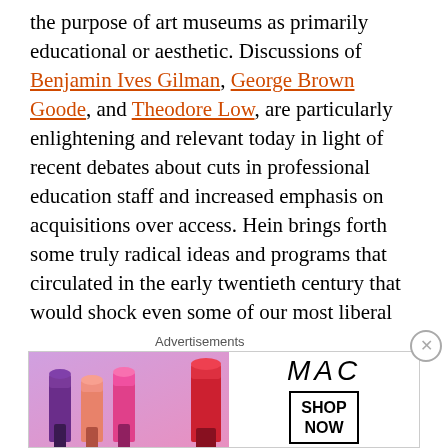the purpose of art museums as primarily educational or aesthetic. Discussions of Benjamin Ives Gilman, George Brown Goode, and Theodore Low, are particularly enlightening and relevant today in light of recent debates about cuts in professional education staff and increased emphasis on acquisitions over access. Hein brings forth some truly radical ideas and programs that circulated in the early twentieth century that would shock even some of our most liberal educators today. Art museum directors might positively faint! The examples discussed include the Met's work with the International Ladies' Garment Worker's Union in the early 1940s that included evening tours, lectures, and concerts and participation in selecting works for exhibitions, and the work of the New Deal programs, the Federal Arts Project, and the Works Progress Administration that brought art and arts
[Figure (other): Advertisement banner for MAC cosmetics showing lipsticks and 'SHOP NOW' button with MAC logo]